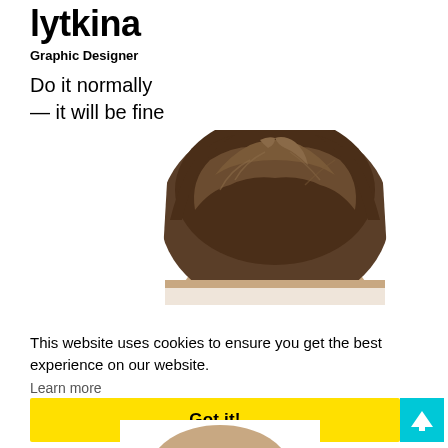lytkina
Graphic Designer
Do it normally
— it will be fine
[Figure (photo): Top portion of a person's head showing brown hair, cropped at forehead level, white background]
This website uses cookies to ensure you get the best experience on our website.
Learn more
Got it!
[Figure (illustration): Cyan/teal square button with white upward arrow icon]
[Figure (photo): Bottom portion of a person's face visible at bottom of page]